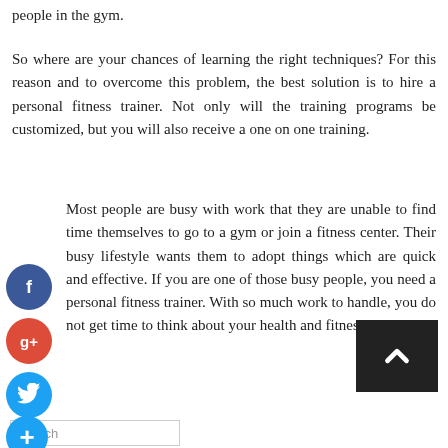people in the gym.
So where are your chances of learning the right techniques? For this reason and to overcome this problem, the best solution is to hire a personal fitness trainer. Not only will the training programs be customized, but you will also receive a one on one training.
Most people are busy with work that they are unable to find time themselves to go to a gym or join a fitness center. Their busy lifestyle wants them to adopt things which are quick and effective. If you are one of those busy people, you need a personal fitness trainer. With so much work to handle, you do not get time to think about your health and fitness.